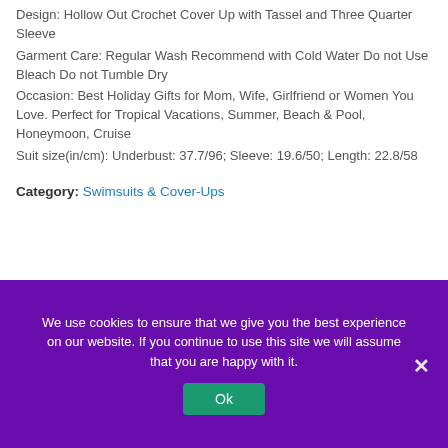Design: Hollow Out Crochet Cover Up with Tassel and Three Quarter Sleeve
Garment Care: Regular Wash Recommend with Cold Water Do not Use Bleach Do not Tumble Dry
Occasion: Best Holiday Gifts for Mom, Wife, Girlfriend or Women You Love. Perfect for Tropical Vacations, Summer, Beach & Pool, Honeymoon, Cruise
Suit size(in/cm): Underbust: 37.7/96; Sleeve: 19.6/50; Length: 22.8/58
Category: Swimsuits & Cover-Ups
We use cookies to ensure that we give you the best experience on our website. If you continue to use this site we will assume that you are happy with it.